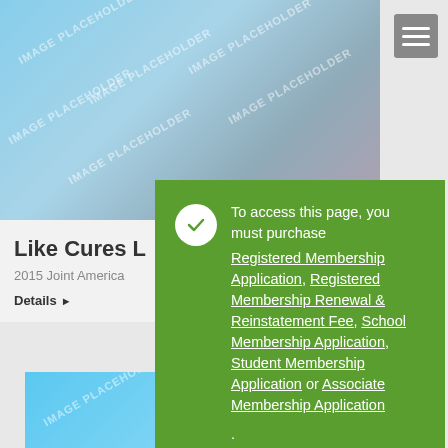[Figure (screenshot): Top image placeholder with blue-grey gradient and watermark text]
Like Cures L
2015 Joint America
Details ▶
To access this page, you must purchase Registered Membership Application, Registered Membership Renewal & Reinstatement Fee, School Membership Application, Student Membership Application or Associate Membership Application.
[Figure (screenshot): Bottom image placeholder with blue gradient and watermark text]